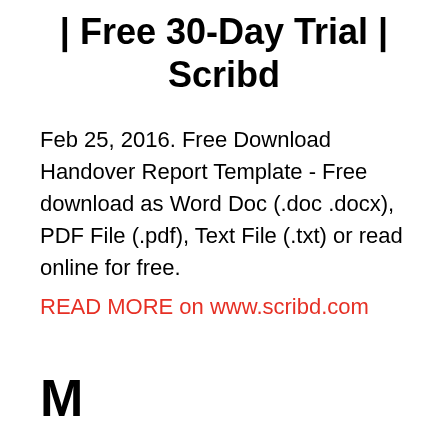| Free 30-Day Trial | Scribd
Feb 25, 2016. Free Download Handover Report Template - Free download as Word Doc (.doc .docx), PDF File (.pdf), Text File (.txt) or read online for free.
READ MORE on www.scribd.com
M